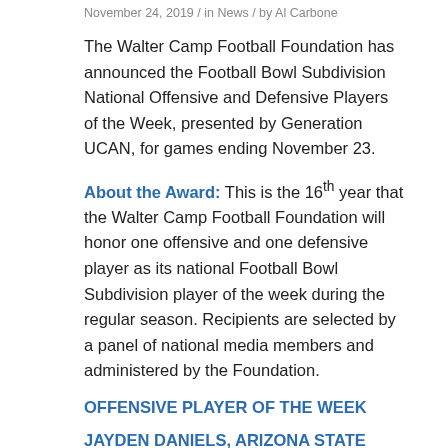November 24, 2019 / in News / by Al Carbone
The Walter Camp Football Foundation has announced the Football Bowl Subdivision National Offensive and Defensive Players of the Week, presented by Generation UCAN, for games ending November 23.
About the Award: This is the 16th year that the Walter Camp Football Foundation will honor one offensive and one defensive player as its national Football Bowl Subdivision player of the week during the regular season. Recipients are selected by a panel of national media members and administered by the Foundation.
OFFENSIVE PLAYER OF THE WEEK
JAYDEN DANIELS, ARIZONA STATE
Freshman, Quarterback, San Bernardino, CA/Cajon